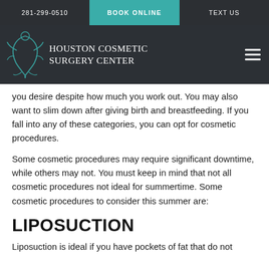281-299-0510 | BOOK ONLINE | TEXT US
[Figure (logo): Houston Cosmetic Surgery Center logo with teal decorative graphic and white serif text on dark background]
you desire despite how much you work out. You may also want to slim down after giving birth and breastfeeding. If you fall into any of these categories, you can opt for cosmetic procedures.
Some cosmetic procedures may require significant downtime, while others may not. You must keep in mind that not all cosmetic procedures not ideal for summertime. Some cosmetic procedures to consider this summer are:
LIPOSUCTION
Liposuction is ideal if you have pockets of fat that do not